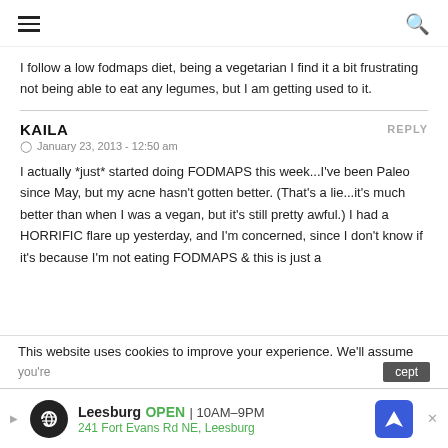Navigation menu and search icon
I follow a low fodmaps diet, being a vegetarian I find it a bit frustrating not being able to eat any legumes, but I am getting used to it.
KAILA  REPLY
⊙  January 23, 2013 - 12:50 am
I actually *just* started doing FODMAPS this week...I've been Paleo since May, but my acne hasn't gotten better. (That's a lie...it's much better than when I was a vegan, but it's still pretty awful.) I had a HORRIFIC flare up yesterday, and I'm concerned, since I don't know if it's because I'm not eating FODMAPS & this is just a
This website uses cookies to improve your experience. We'll assume
[Figure (infographic): Advertisement banner for Leesburg store showing logo, open hours 10AM-9PM, address 241 Fort Evans Rd NE Leesburg, and navigation arrow button]